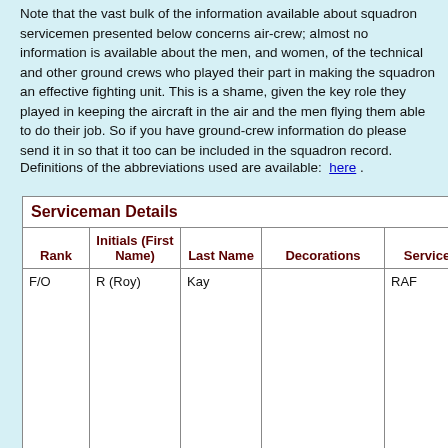Note that the vast bulk of the information available about squadron servicemen presented below concerns air-crew; almost no information is available about the men, and women, of the technical and other ground crews who played their part in making the squadron an effective fighting unit. This is a shame, given the key role they played in keeping the aircraft in the air and the men flying them able to do their job. So if you have ground-crew information do please send it in so that it too can be included in the squadron record.
Definitions of the abbreviations used are available: here .
| Rank | Initials (First Name) | Last Name | Decorations | Service | Serv No. |
| --- | --- | --- | --- | --- | --- |
| F/O | R (Roy) | Kay |  | RAF | 53358 |